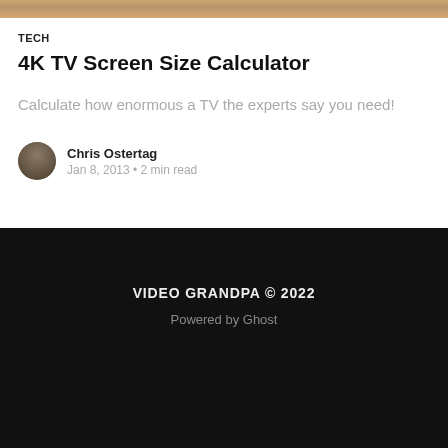[Figure (photo): Partial top image strip showing a blurred TV or animal related photo, cropped at the top of the page]
TECH
4K TV Screen Size Calculator
Calculate how enormous a TV the experts say you need!
[Figure (photo): Small circular avatar photo of author Chris Ostertag, showing a small dog or animal face]
Chris Ostertag
Jan 8, 2013 • 2 min read
VIDEO GRANDPA © 2022
Powered by Ghost